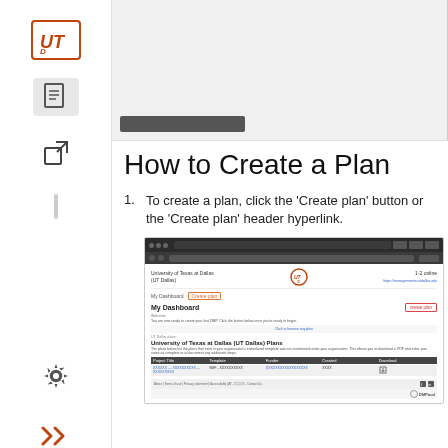[Figure (screenshot): Top partial screenshot of a web-based DMP tool dashboard interface]
How to Create a Plan
To create a plan, click the 'Create plan' button or the 'Create plan' header hyperlink.
[Figure (screenshot): Screenshot of the DMPTool My Dashboard page showing the University of Texas at Dallas (UT Dallas) interface with 'Create plan' button highlighted in red and 'Create plan' header hyperlink highlighted with a red box. The dashboard shows University of Texas at Dallas (UT Dallas) Plans with a table of project plans.]